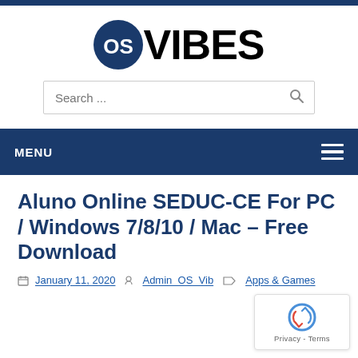[Figure (logo): OSVibes logo with blue circle containing 'OS' in white and 'VIBES' in bold black text]
[Figure (screenshot): Search bar with placeholder text 'Search ...' and magnifying glass icon]
MENU
Aluno Online SEDUC-CE For PC / Windows 7/8/10 / Mac – Free Download
January 11, 2020  Admin_OS_Vib  Apps & Games
[Figure (other): reCAPTCHA badge showing recycling-style arrows logo with 'Privacy - Terms' text below]